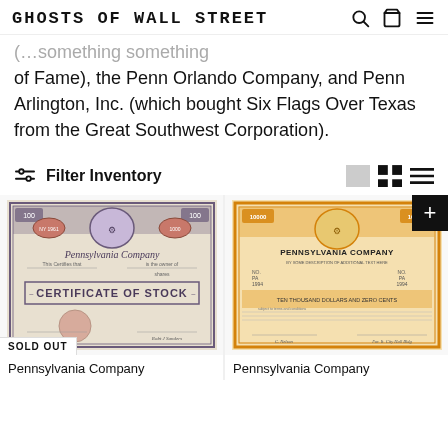GHOSTS OF WALL STREET
of Fame), the Penn Orlando Company, and Penn Arlington, Inc. (which bought Six Flags Over Texas from the Great Southwest Corporation).
Filter Inventory
[Figure (photo): Purple/grey Pennsylvania Company Certificate of Stock — SOLD OUT]
[Figure (photo): Orange Pennsylvania Company stock certificate]
Pennsylvania Company
Pennsylvania Company